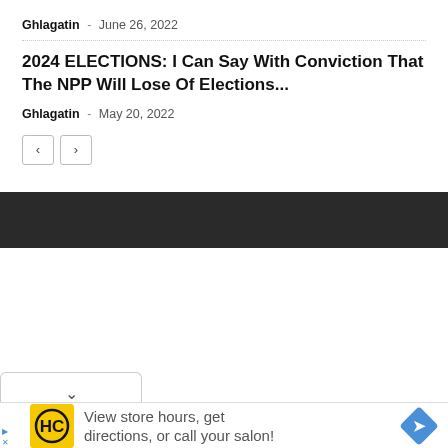Ghlagatin - June 26, 2022
2024 ELECTIONS: I Can Say With Conviction That The NPP Will Lose Of Elections...
Ghlagatin - May 20, 2022
[Figure (other): Pagination buttons with left and right arrow chevrons]
[Figure (other): Dark banner/footer bar]
[Figure (other): Collapse tab with chevron down arrow]
[Figure (other): Advertisement bar with HC logo, text 'View store hours, get directions, or call your salon!' and navigation arrow icon]